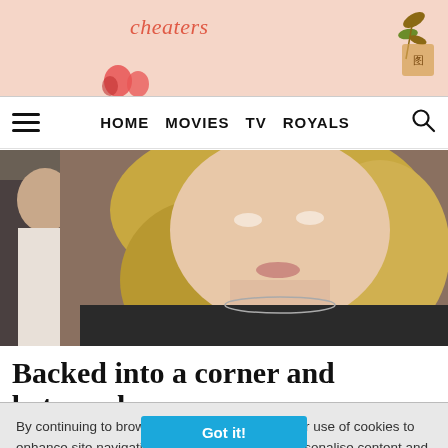[Figure (illustration): Advertisement banner with peach/salmon background, italic script text 'cheaters', decorative leaf illustration top right, red heart/strawberry illustrations bottom left]
HOME  MOVIES  TV  ROYALS
[Figure (photo): Close-up photo of a blonde woman with long wavy hair wearing a black leather jacket with studded details and a chain necklace; a man is visible in the background]
Backed into a corner and betrayed
By continuing to browse our site you agree to our use of cookies to enhance site navigation, analyze site usage, personalise content and ads, and to enhance social media features. To learn more and to view our Cookie Policy,  click here.